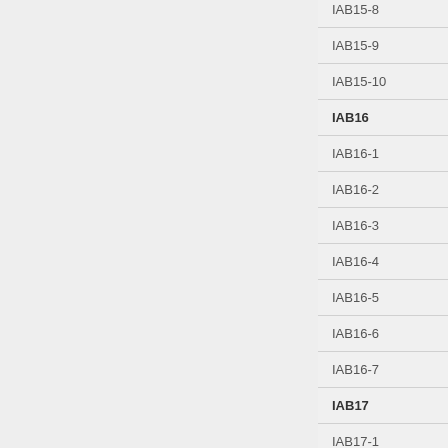| IAB15-8 |
| IAB15-9 |
| IAB15-10 |
| IAB16 |
| IAB16-1 |
| IAB16-2 |
| IAB16-3 |
| IAB16-4 |
| IAB16-5 |
| IAB16-6 |
| IAB16-7 |
| IAB17 |
| IAB17-1 |